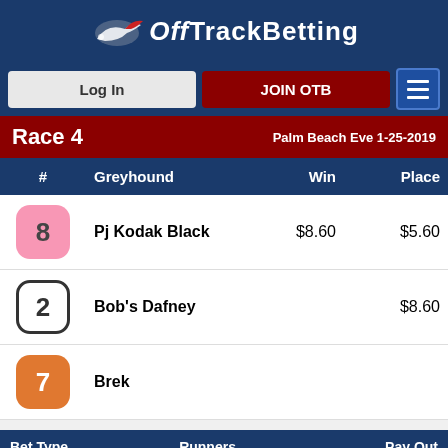OffTrackBetting
Log In | JOIN OTB
Race 4   Palm Beach Eve 1-25-2019
| # | Greyhound | Win | Place |
| --- | --- | --- | --- |
| 8 | Pj Kodak Black | $8.60 | $5.60 |
| 2 | Bob's Dafney |  | $8.60 |
| 7 | Brek |  |  |
| Bet Type | Runners | Pay Out |
| --- | --- | --- |
| $2 Exacta | 8-2 | $49... |
| $2 Quinella | 2-8 | $18.80 |